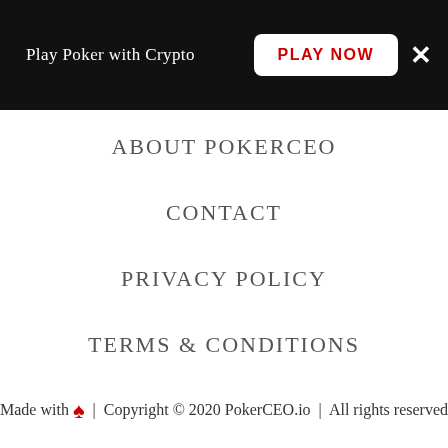Play Poker with Crypto | PLAY NOW | ×
ABOUT POKERCEO
CONTACT
PRIVACY POLICY
TERMS & CONDITIONS
Made with ♠ | Copyright © 2020 PokerCEO.io | All rights reserved